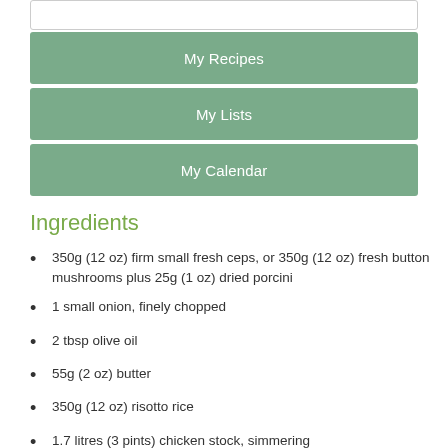My Recipes
My Lists
My Calendar
Ingredients
350g (12 oz) firm small fresh ceps, or 350g (12 oz) fresh button mushrooms plus 25g (1 oz) dried porcini
1 small onion, finely chopped
2 tbsp olive oil
55g (2 oz) butter
350g (12 oz) risotto rice
1.7 litres (3 pints) chicken stock, simmering
55g (2 oz) Parmesan, freshly grated